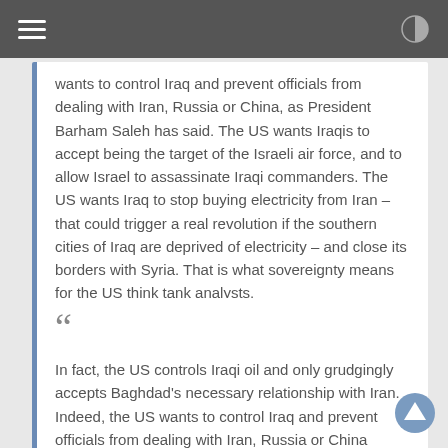Navigation bar with hamburger menu and brightness icon
wants to control Iraq and prevent officials from dealing with Iran, Russia or China, as President Barham Saleh has said. The US wants Iraqis to accept being the target of the Israeli air force, and to allow Israel to assassinate Iraqi commanders. The US wants Iraq to stop buying electricity from Iran – that could trigger a real revolution if the southern cities of Iraq are deprived of electricity – and close its borders with Syria. That is what sovereignty means for the US think tank analysts.
In fact, the US controls Iraqi oil and only grudgingly accepts Baghdad's necessary relationship with Iran. Indeed, the US wants to control Iraq and prevent officials from dealing with Iran, Russia or China